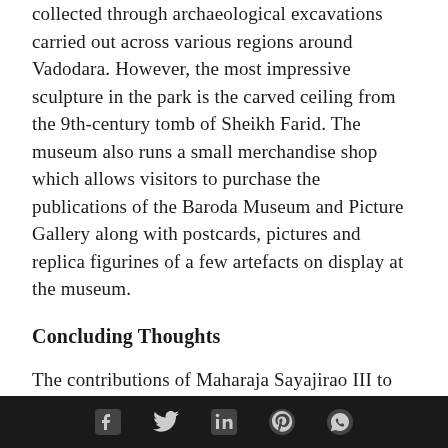collected through archaeological excavations carried out across various regions around Vadodara. However, the most impressive sculpture in the park is the carved ceiling from the 9th-century tomb of Sheikh Farid. The museum also runs a small merchandise shop which allows visitors to purchase the publications of the Baroda Museum and Picture Gallery along with postcards, pictures and replica figurines of a few artefacts on display at the museum.
Concluding Thoughts
The contributions of Maharaja Sayajirao III to
[social media icons: Facebook, Twitter, LinkedIn, Pinterest, WhatsApp]